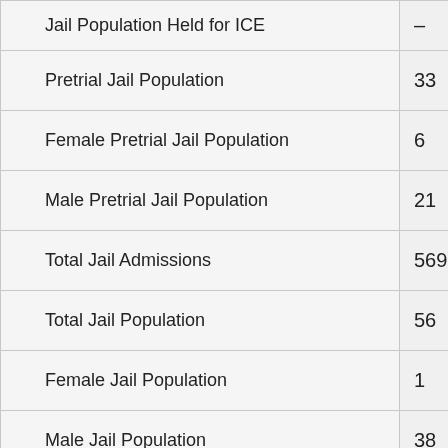| Category | Value |
| --- | --- |
| Jail Population Held for ICE | – |
| Pretrial Jail Population | 33 |
| Female Pretrial Jail Population | 6 |
| Male Pretrial Jail Population | 21 |
| Total Jail Admissions | 569 |
| Total Jail Population | 56 |
| Female Jail Population | 1 |
| Male Jail Population | 38 |
| Asian Jail Population | – |